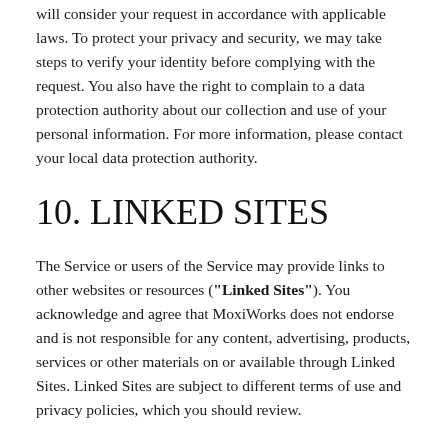will consider your request in accordance with applicable laws. To protect your privacy and security, we may take steps to verify your identity before complying with the request. You also have the right to complain to a data protection authority about our collection and use of your personal information. For more information, please contact your local data protection authority.
10. LINKED SITES
The Service or users of the Service may provide links to other websites or resources ("Linked Sites"). You acknowledge and agree that MoxiWorks does not endorse and is not responsible for any content, advertising, products, services or other materials on or available through Linked Sites. Linked Sites are subject to different terms of use and privacy policies, which you should review.
11. CHANGES TO THIS POLICY
We reserve the right to change this Privacy Policy at any time upon notice to you. We may give notice by making the updated Privacy Policy available in the Service or by any other reasonable means. You can access and review the most current version of